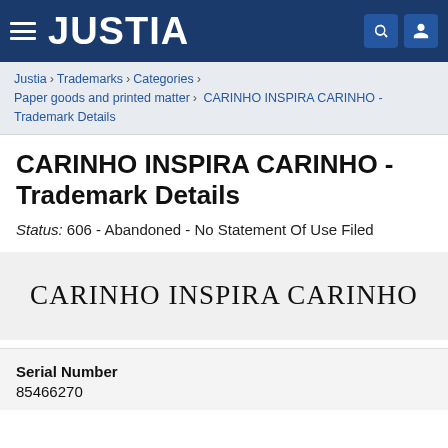JUSTIA
Justia > Trademarks > Categories > Paper goods and printed matter > CARINHO INSPIRA CARINHO - Trademark Details
CARINHO INSPIRA CARINHO - Trademark Details
Status: 606 - Abandoned - No Statement Of Use Filed
[Figure (illustration): Trademark wordmark text reading CARINHO INSPIRA CARINHO in serif font on light grey background]
Serial Number
85466270